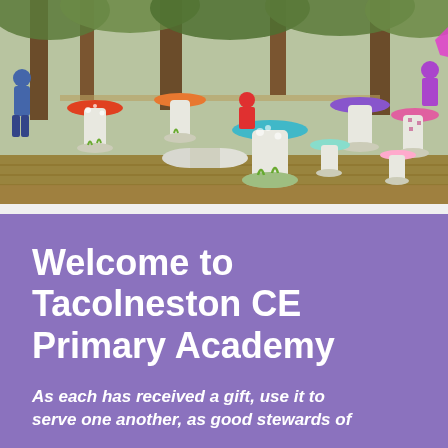[Figure (photo): Outdoor woodland playground with children playing around large painted cable spool mushroom-shaped seats/tables in various colors (red with dots, orange, green, teal, pink/purple). Children wearing winter coats. Wooden decking and mulch ground cover visible. Trees in background.]
Welcome to Tacolneston CE Primary Academy
As each has received a gift, use it to serve one another, as good stewards of